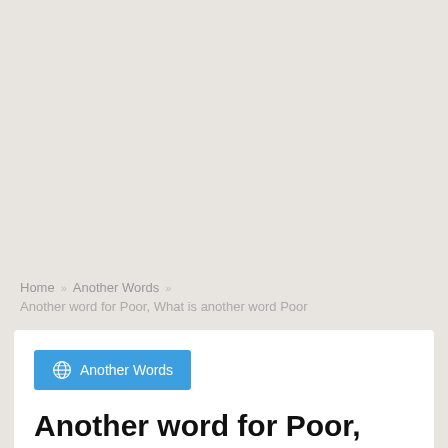Home » Another Words »
Another word for Poor, What is another word Poor
[Figure (other): Blue badge button with globe icon labeled 'Another Words']
Another word for Poor, What is another word Poor